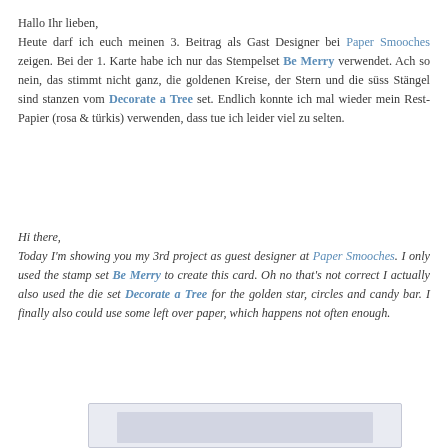Hallo Ihr lieben, Heute darf ich euch meinen 3. Beitrag als Gast Designer bei Paper Smooches zeigen. Bei der 1. Karte habe ich nur das Stempelset Be Merry verwendet. Ach so nein, das stimmt nicht ganz, die goldenen Kreise, der Stern und die süss Stängel sind stanzen vom Decorate a Tree set. Endlich konnte ich mal wieder mein Rest-Papier (rosa & türkis) verwenden, dass tue ich leider viel zu selten.
Hi there, Today I'm showing you my 3rd project as guest designer at Paper Smooches. I only used the stamp set Be Merry to create this card. Oh no that's not correct I actually also used the die set Decorate a Tree for the golden star, circles and candy bar. I finally also could use some left over paper, which happens not often enough.
[Figure (photo): Partially visible photograph or image at the bottom of the page, showing a light-colored card or craft project]